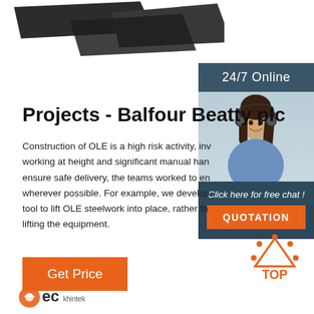[Figure (photo): Dark steel plate / sheet metal products shown from above at an angle]
[Figure (infographic): 24/7 Online chat widget sidebar with photo of woman with headset, 'Click here for free chat!' and QUOTATION button]
Projects - Balfour Beatty plc
Construction of OLE is a high risk activity, involving working at height and significant manual handling. To ensure safe delivery, the teams worked to engineer out risk wherever possible. For example, we developed a specialist tool to lift OLE steelwork into place, rather than manually lifting the equipment.
[Figure (infographic): Orange 'Get Price' button]
[Figure (logo): Orange TOP arrow/triangle icon with dots and 'TOP' text]
[Figure (logo): EC company logo at bottom left]